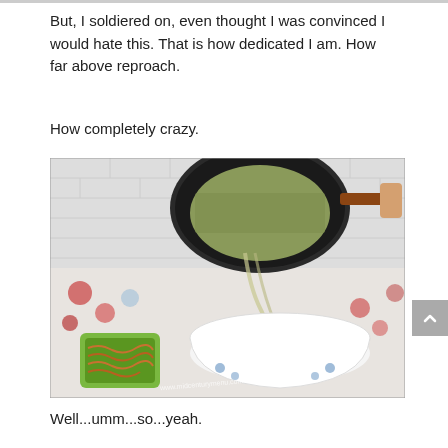But, I soldiered on, even thought I was convinced I would hate this. That is how dedicated I am. How far above reproach.
How completely crazy.
[Figure (photo): A black saucepan being tilted to pour rice or grain mixture into a white bowl with blue floral pattern. A green dish with brown fried noodles or similar food is visible to the left. A floral tablecloth is underneath. Watermark reads www.midcenturymenu.com © 2011.]
Well...umm...so...yeah.